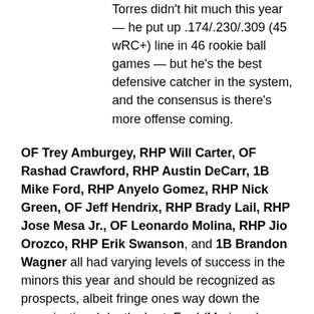Saul Torres (18): Torres didn't hit much this year — he put up .174/.230/.309 (45 wRC+) line in 46 rookie ball games — but he's the best defensive catcher in the system, and the consensus is there's more offense coming.
OF Trey Amburgey, RHP Will Carter, OF Rashad Crawford, RHP Austin DeCarr, 1B Mike Ford, RHP Anyelo Gomez, RHP Nick Green, OF Jeff Hendrix, RHP Brady Lail, RHP Jose Mesa Jr., OF Leonardo Molina, RHP Jio Orozco, RHP Erik Swanson, and 1B Brandon Wagner all had varying levels of success in the minors this year and should be recognized as prospects, albeit fringe ones way down the organizational depth chart. Ford (Mariners), Gomez (Braves), and Mesa (Orioles) were all selected in the Rule 5 Draft.